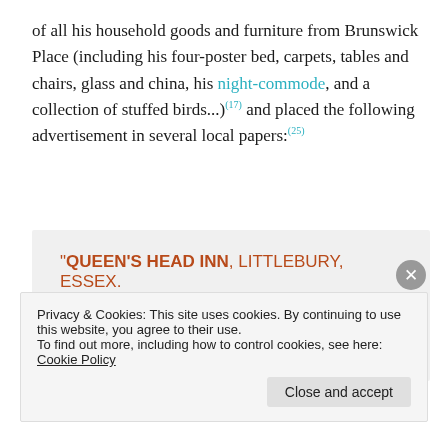of all his household goods and furniture from Brunswick Place (including his four-poster bed, carpets, tables and chairs, glass and china, his night-commode, and a collection of stuffed birds...)(17) and placed the following advertisement in several local papers:(25)
"QUEEN'S HEAD INN, LITTLEBURY, ESSEX.
"ISAAC BATTEN, (Late coachman to "The Times,")
Privacy & Cookies: This site uses cookies. By continuing to use this website, you agree to their use.
To find out more, including how to control cookies, see here: Cookie Policy
Close and accept